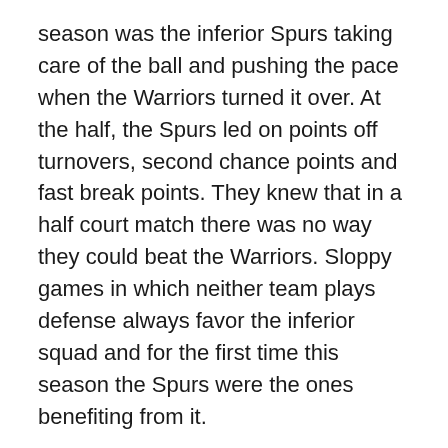season was the inferior Spurs taking care of the ball and pushing the pace when the Warriors turned it over. At the half, the Spurs led on points off turnovers, second chance points and fast break points. They knew that in a half court match there was no way they could beat the Warriors. Sloppy games in which neither team plays defense always favor the inferior squad and for the first time this season the Spurs were the ones benefiting from it.
Gary Neal was scorching hot (18 first half points) and helped the team get buckets in the half court but pretty much everyone was hitting in the first half with the exception of Danny Green (0-5), who couldn't buy a bucket. The Warriors Big Three of Lee, Thompson and Curry finished with a combined 33 points but the Spurs surprisingly went into the break up three, 57-54